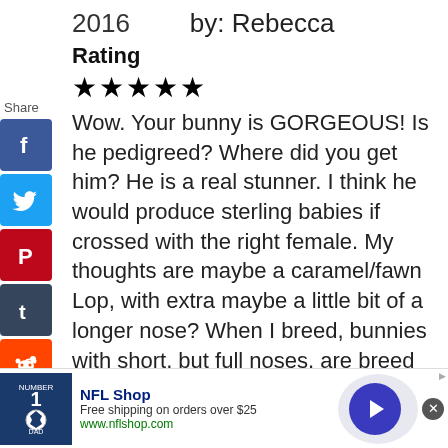2016
by: Rebecca
Rating
★★★★★
Wow. Your bunny is GORGEOUS! Is he pedigreed? Where did you get him? He is a real stunner. I think he would produce sterling babies if crossed with the right female. My thoughts are maybe a caramel/fawn Lop, with extra maybe a little bit of a longer nose? When I breed, bunnies with short, but full noses, are breed with bunnies that have a little longer stretch to them.
NFL Shop
Free shipping on orders over $25
www.nflshop.com